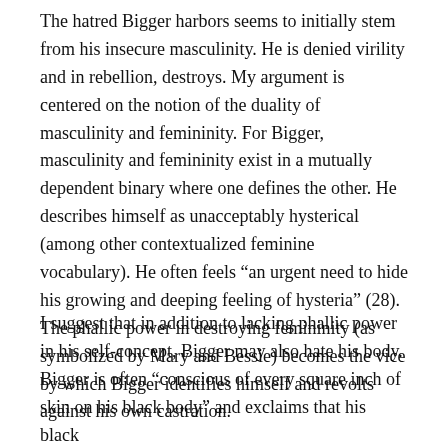The hatred Bigger harbors seems to initially stem from his insecure masculinity. He is denied virility and in rebellion, destroys. My argument is centered on the notion of the duality of masculinity and femininity. For Bigger, masculinity and femininity exist in a mutually dependent binary where one defines the other. He describes himself as unacceptably hysterical (among other contextualized feminine vocabulary). He often feels “an urgent need to hide his growing and deeping feeling of hysteria” (28). The phallic power in destroying femininity (as symbolized by Mary and Bessie) becomes the vice by which Bigger identifies himself and revolts against his own castration.
I suggest that in addition to lacking phallic power in his self-concept, Bigger may also hate his body. Bigger is often “conscious of every square inch of skin on his black body” and exclaims that his black